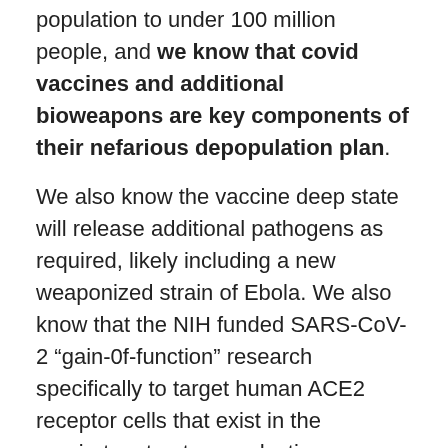population to under 100 million people, and we know that covid vaccines and additional bioweapons are key components of their nefarious depopulation plan.
We also know the vaccine deep state will release additional pathogens as required, likely including a new weaponized strain of Ebola. We also know that the NIH funded SARS-CoV-2 “gain-0f-function” research specifically to target human ACE2 receptor cells that exist in the respiratory tract, reproductive organs and other organs.
Finally, we know that the spike protein used in the vaccines is itself a biological weapon that even the Salk Institute confirms causes vascular disease. This is the particle that’s causing blood clots which lead to heart attacks, strokes and pulmonary embolism deaths. The